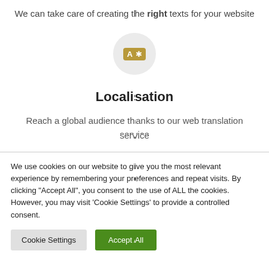We can take care of creating the right texts for your website
[Figure (illustration): Translation icon: circular grey background with a yellow/gold badge containing 'A' and a star/kanji symbol]
Localisation
Reach a global audience thanks to our web translation service
We use cookies on our website to give you the most relevant experience by remembering your preferences and repeat visits. By clicking "Accept All", you consent to the use of ALL the cookies. However, you may visit 'Cookie Settings' to provide a controlled consent.